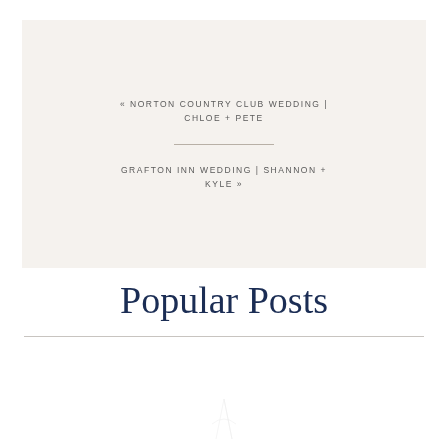« NORTON COUNTRY CLUB WEDDING | CHLOE + PETE
GRAFTON INN WEDDING | SHANNON + KYLE »
Popular Posts